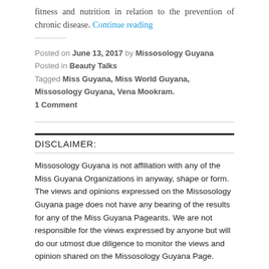fitness and nutrition in relation to the prevention of chronic disease. Continue reading
Posted on June 13, 2017 by Missosology Guyana
Posted in Beauty Talks
Tagged Miss Guyana, Miss World Guyana, Missosology Guyana, Vena Mookram.
1 Comment
DISCLAIMER:
Missosology Guyana is not affiliation with any of the Miss Guyana Organizations in anyway, shape or form. The views and opinions expressed on the Missosology Guyana page does not have any bearing of the results for any of the Miss Guyana Pageants. We are not responsible for the views expressed by anyone but will do our utmost due diligence to monitor the views and opinion shared on the Missosology Guyana Page.
Missosology Guyana is not responsible for, and expressly disclaims all